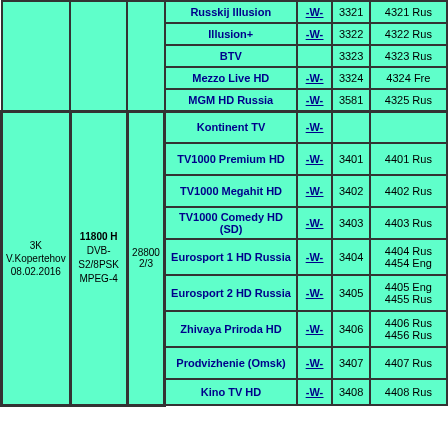| Satellite | Frequency | SR/FEC | Channel | W | SID | VPID/Lang |
| --- | --- | --- | --- | --- | --- | --- |
|  |  |  | Russkij Illusion | -W- | 3321 | 4321 Rus |
|  |  |  | Illusion+ | -W- | 3322 | 4322 Rus |
|  |  |  | BTV |  | 3323 | 4323 Rus |
|  |  |  | Mezzo Live HD | -W- | 3324 | 4324 Fre |
|  |  |  | MGM HD Russia | -W- | 3581 | 4325 Rus |
| 3K V.Kopertehov 08.02.2016 | 11800 H DVB-S2/8PSK MPEG-4 | 28800 2/3 | Kontinent TV | -W- |  |  |
|  |  |  | TV1000 Premium HD | -W- | 3401 | 4401 Rus |
|  |  |  | TV1000 Megahit HD | -W- | 3402 | 4402 Rus |
|  |  |  | TV1000 Comedy HD (SD) | -W- | 3403 | 4403 Rus |
|  |  |  | Eurosport 1 HD Russia | -W- | 3404 | 4404 Rus 4454 Eng |
|  |  |  | Eurosport 2 HD Russia | -W- | 3405 | 4405 Eng 4455 Rus |
|  |  |  | Zhivaya Priroda HD | -W- | 3406 | 4406 Rus 4456 Rus |
|  |  |  | Prodvizhenie (Omsk) | -W- | 3407 | 4407 Rus |
|  |  |  | Kino TV HD | -W- | 3408 | 4408 Rus |